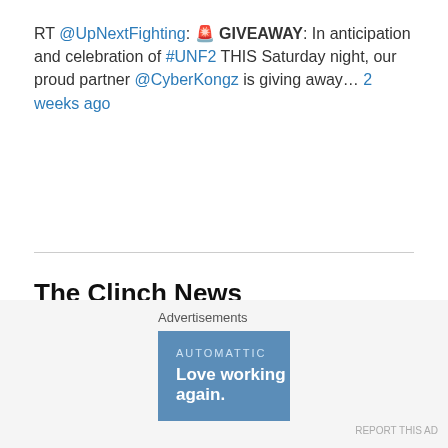RT @UpNextFighting: 🚨 GIVEAWAY: In anticipation and celebration of #UNF2 THIS Saturday night, our proud partner @CyberKongz is giving away… 2 weeks ago
The Clinch News
CXF Delivers Another Heavy Handed Night of Fights Punctuated by Another Memorable Main Event!
Celtic Gladiator 21: Europe's Top Mixed Martial Arts Promotion Returns To Burbank
A View from The Clinch at The Malaysian Invasion
Natalie Morgan Shines at The Muay Thai Angels Tournament in Bangkok, Thailand
Richard LeRoy: Survive the Storm by Becoming The Storm
Advertisements
[Figure (other): Automattic advertisement banner: 'AUTOMATTIC — Love working again.']